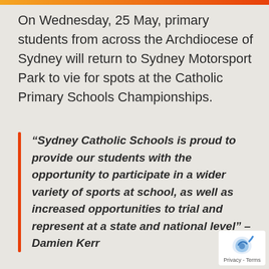On Wednesday, 25 May, primary students from across the Archdiocese of Sydney will return to Sydney Motorsport Park to vie for spots at the Catholic Primary Schools Championships.
“Sydney Catholic Schools is proud to provide our students with the opportunity to participate in a wider variety of sports at school, as well as increased opportunities to trial and represent at a state and national level” – Damien Kerr